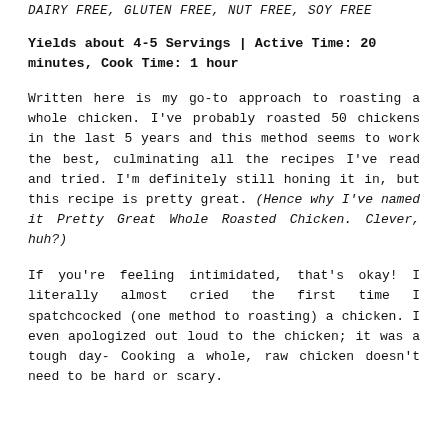DAIRY FREE, GLUTEN FREE, NUT FREE, SOY FREE
Yields about 4-5 Servings | Active Time: 20 minutes, Cook Time: 1 hour
Written here is my go-to approach to roasting a whole chicken. I've probably roasted 50 chickens in the last 5 years and this method seems to work the best, culminating all the recipes I've read and tried. I'm definitely still honing it in, but this recipe is pretty great. (Hence why I've named it Pretty Great Whole Roasted Chicken. Clever, huh?)
If you're feeling intimidated, that's okay! I literally almost cried the first time I spatchcocked (one method to roasting) a chicken. I even apologized out loud to the chicken; it was a tough day- Cooking a whole, raw chicken doesn't need to be hard or scary.